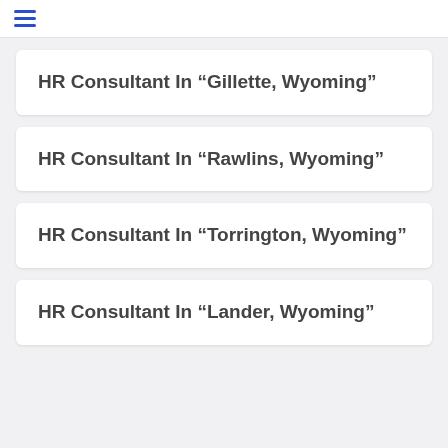≡
HR Consultant In “Gillette, Wyoming”
HR Consultant In “Rawlins, Wyoming”
HR Consultant In “Torrington, Wyoming”
HR Consultant In “Lander, Wyoming”